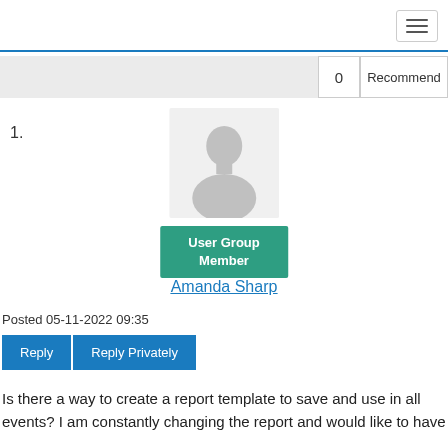1.
[Figure (illustration): Default grey silhouette avatar of a user with a teal 'User Group Member' badge below]
Amanda Sharp
Posted 05-11-2022 09:35
Reply   Reply Privately
Is there a way to create a report template to save and use in all events? I am constantly changing the report and would like to have